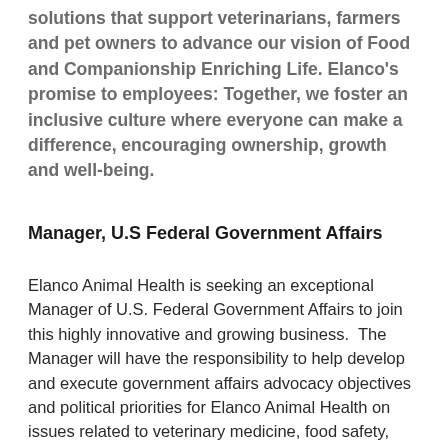solutions that support veterinarians, farmers and pet owners to advance our vision of Food and Companionship Enriching Life. Elanco's promise to employees: Together, we foster an inclusive culture where everyone can make a difference, encouraging ownership, growth and well-being.
Manager, U.S Federal Government Affairs
Elanco Animal Health is seeking an exceptional Manager of U.S. Federal Government Affairs to join this highly innovative and growing business. The Manager will have the responsibility to help develop and execute government affairs advocacy objectives and political priorities for Elanco Animal Health on issues related to veterinary medicine, food safety, trade, and sustainability. The Manager will represent Elanco before Congress and relevant federal agencies, to establish, enhance, and preserve key Elanco